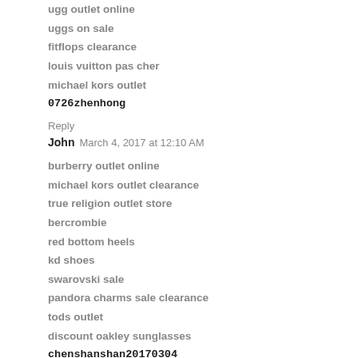ugg outlet online
uggs on sale
fitflops clearance
louis vuitton pas cher
michael kors outlet
0726zhenhong
Reply
John  March 4, 2017 at 12:10 AM
burberry outlet online
michael kors outlet clearance
true religion outlet store
bercrombie
red bottom heels
kd shoes
swarovski sale
pandora charms sale clearance
tods outlet
discount oakley sunglasses
chenshanshan20170304
Reply